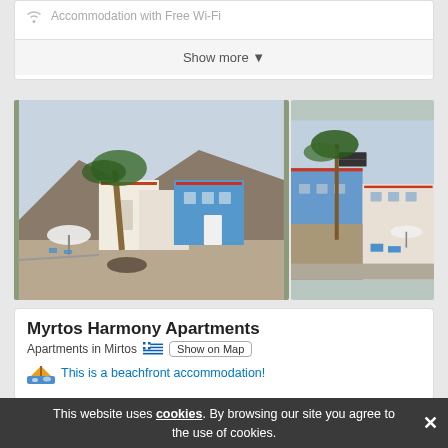Accommodation with Free Wi-Fi
Show more
[Figure (photo): Two photos of Myrtos Harmony Apartments exterior showing white and blue buildings with palm trees, beachfront area with umbrellas and chairs]
Myrtos Harmony Apartments
Apartments in Mirtos  Show on Map
This is a beachfront accommodation!
Available on: Booking.com
Categories
This website uses cookies. By browsing our site you agree to the use of cookies.